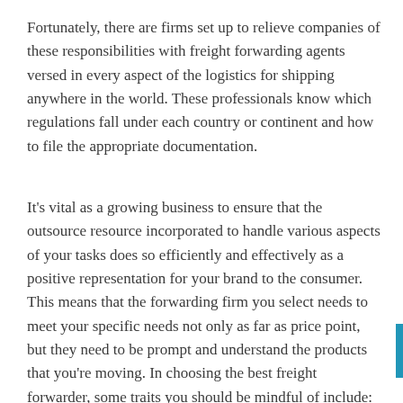Fortunately, there are firms set up to relieve companies of these responsibilities with freight forwarding agents versed in every aspect of the logistics for shipping anywhere in the world. These professionals know which regulations fall under each country or continent and how to file the appropriate documentation.
It’s vital as a growing business to ensure that the outsource resource incorporated to handle various aspects of your tasks does so efficiently and effectively as a positive representation for your brand to the consumer. This means that the forwarding firm you select needs to meet your specific needs not only as far as price point, but they need to be prompt and understand the products that you’re moving. In choosing the best freight forwarder, some traits you should be mindful of include: